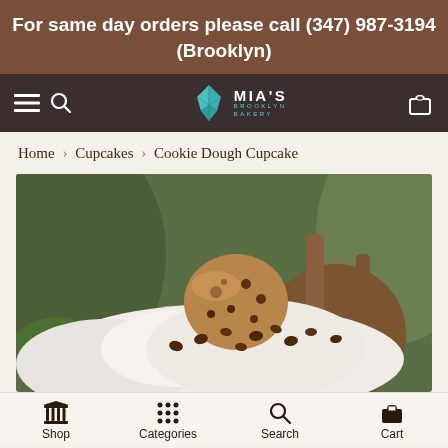For same day orders please call (347) 987-3194 (Brooklyn)
[Figure (logo): Mia's Brooklyn Bakery logo with teal geometric leaf/crown icon and white text]
Home › Cupcakes › Cookie Dough Cupcake
[Figure (photo): Close-up photo of a Cookie Dough Cupcake with white frosting, chocolate chips, and a cookie dough ball on top, with green plants in the background]
Shop   Categories   Search   Cart